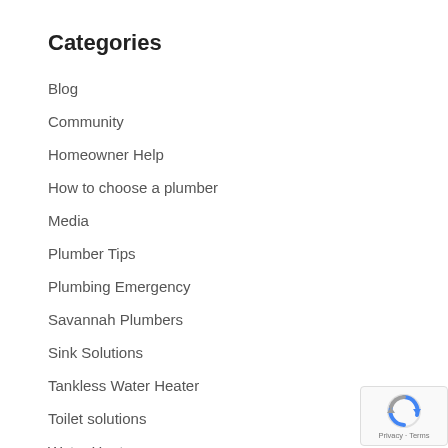Categories
Blog
Community
Homeowner Help
How to choose a plumber
Media
Plumber Tips
Plumbing Emergency
Savannah Plumbers
Sink Solutions
Tankless Water Heater
Toilet solutions
Water Heater
[Figure (logo): Google reCAPTCHA badge with Privacy and Terms text]